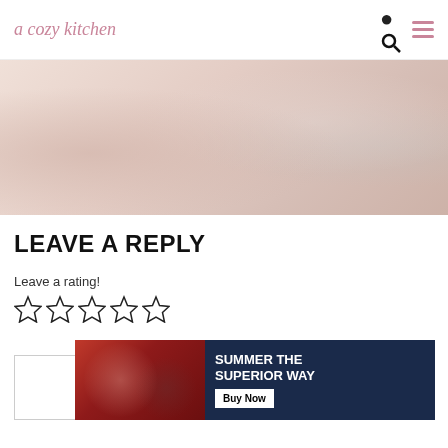a cozy kitchen
[Figure (photo): Food photo showing biscuits with cream and strawberries on a tray with a knife and a cup, washed out/faded appearance]
LEAVE A REPLY
Leave a rating!
[Figure (other): Five empty star rating icons]
[Figure (screenshot): Comment text input box, empty]
[Figure (infographic): Advertisement banner: SUMMER THE SUPERIOR WAY with Buy Now button, showing people with drinks]